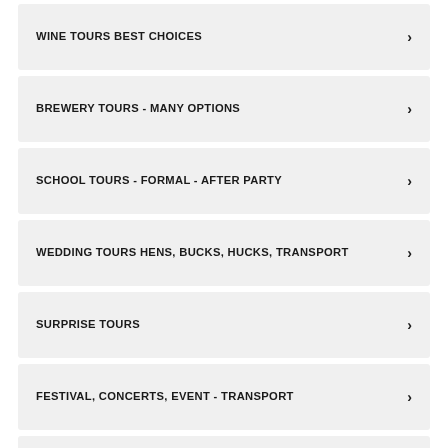WINE TOURS BEST CHOICES
BREWERY TOURS - MANY OPTIONS
SCHOOL TOURS - FORMAL - AFTER PARTY
WEDDING TOURS HENS, BUCKS, HUCKS, TRANSPORT
SURPRISE TOURS
FESTIVAL, CONCERTS, EVENT - TRANSPORT
TRANSPORT -1 OR 2 WAY - FESTIVAL - PARTY - ALL OCCASIONS